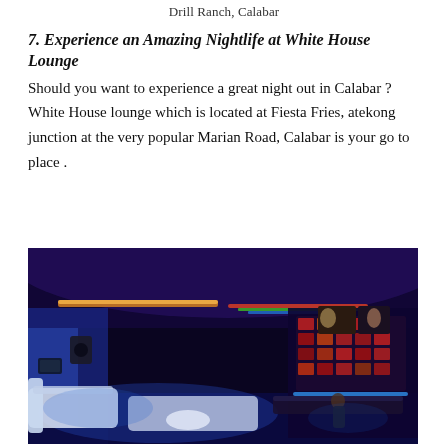Drill Ranch, Calabar
7. Experience an Amazing Nightlife at White House Lounge
Should you want to experience a great night out in Calabar ? White House lounge which is located at Fiesta Fries, atekong junction at the very popular Marian Road, Calabar is your go to place .
[Figure (photo): Interior of White House Lounge nightclub lit with blue, purple, and green LED lights showing seating area, a bar in the background with colorful lights and wall art, and patrons.]